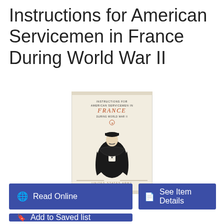Instructions for American Servicemen in France During World War II
[Figure (photo): Book cover of 'Instructions for American Servicemen in France During World War II' published by United States Army, featuring an illustrated figure of a French man in a cape and beret, with the word FRANCE in red.]
Read Online
See Item Details
Add to Saved list